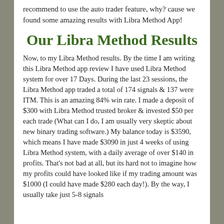recommend to use the auto trader feature, why? cause we found some amazing results with Libra Method App!
Our Libra Method Results
Now, to my Libra Method results. By the time I am writing this Libra Method app review I have used Libra Method system for over 17 Days. During the last 23 sessions, the Libra Method app traded a total of 174 signals & 137 were ITM. This is an amazing 84% win rate. I made a deposit of $300 with Libra Method trusted broker & invested $50 per each trade (What can I do, I am usually very skeptic about new binary trading software.) My balance today is $3590, which means I have made $3090 in just 4 weeks of using Libra Method system, with a daily average of over $140 in profits. That's not bad at all, but its hard not to imagine how my profits could have looked like if my trading amount was $1000 (I could have made $280 each day!). By the way, I usually take just 5-8 signals